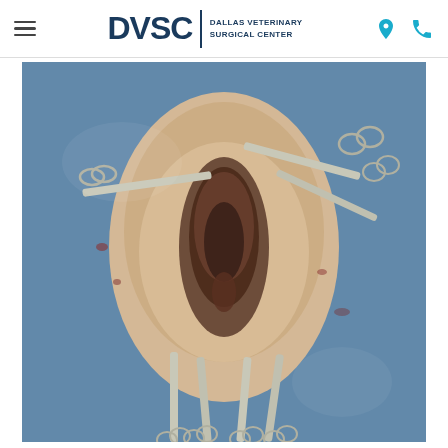DVSC | DALLAS VETERINARY SURGICAL CENTER
[Figure (photo): Veterinary surgical procedure photo showing a surgical site on an animal with blue surgical draping and multiple hemostatic clamps/forceps holding tissue. The surgical field shows a perineal or vulvar region of an animal prepared for surgery, with several Halsted mosquito or Kelly forceps visible at top and bottom of the surgical field.]